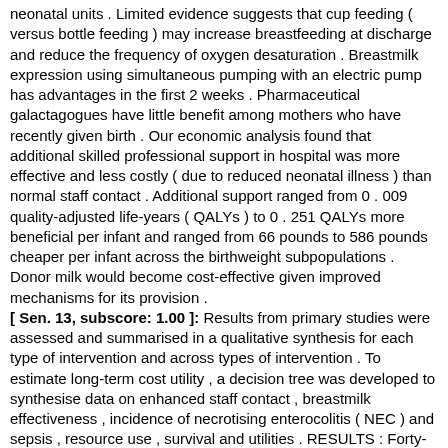neonatal units . Limited evidence suggests that cup feeding ( versus bottle feeding ) may increase breastfeeding at discharge and reduce the frequency of oxygen desaturation . Breastmilk expression using simultaneous pumping with an electric pump has advantages in the first 2 weeks . Pharmaceutical galactagogues have little benefit among mothers who have recently given birth . Our economic analysis found that additional skilled professional support in hospital was more effective and less costly ( due to reduced neonatal illness ) than normal staff contact . Additional support ranged from 0 . 009 quality-adjusted life-years ( QALYs ) to 0 . 251 QALYs more beneficial per infant and ranged from 66 pounds to 586 pounds cheaper per infant across the birthweight subpopulations . Donor milk would become cost-effective given improved mechanisms for its provision . [ Sen. 13, subscore: 1.00 ]: Results from primary studies were assessed and summarised in a qualitative synthesis for each type of intervention and across types of intervention . To estimate long-term cost utility , a decision tree was developed to synthesise data on enhanced staff contact , breastmilk effectiveness , incidence of necrotising enterocolitis ( NEC ) and sepsis , resource use , survival and utilities . RESULTS : Forty-eight studies met the selection criteria for the effectiveness review , of which 65% ( 31/48 ) were RCTs , and 17% ( 8/48 ) were conducted in the UK . Seven were rated as good quality and 28 as moderate quality . No studies met the selection criteria for the health economics review . There is strong evidence that short periods of kangaroo skin-to-skin contact increased the duration of any breastfeeding for 1 month after discharge [ risk ratio ( RR ) 4 . 76 , 95% confidence interval ( CI ) 1 . 19 to 19 . 10 ] and for more than 6 weeks ( RR 1 . 95 , 95% CI 1 . 03 to 3 . 70 ) among clinically stable infants in industrialised settings . There is strong evidence for the effectiveness of peer support at home ( in Manila ) for mothers of term , low birthweight